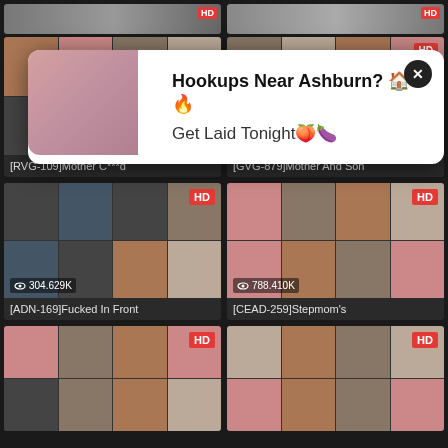[Figure (screenshot): Adult video website grid layout with thumbnail cards, HD badges, view counts, and a popup advertisement overlay saying 'Hookups Near Ashburn? Get Laid Tonight']
[RVG-109]Mother C***d
[GVG-879]Mother And Son
304.629K
788.410K
[ADN-169]Fucked In Front
[CEAD-259]Stepmom's